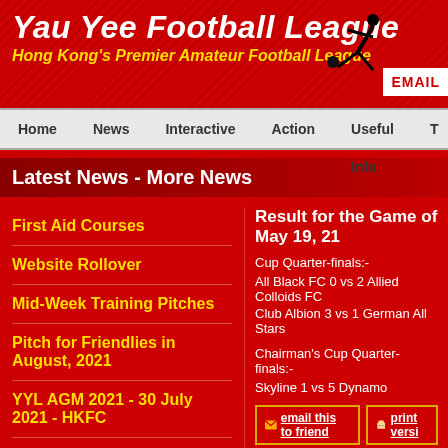Yau Yee Football League — Hong Kong's Premier Amateur Football League
Latest News - More News
First Aid Courses
Website Rollover
Mid-Week Training Pitches
Pitch for Friendlies in August, 2021
YYL AGM 2021 - 30 July 2021 - HKFC
Result for the Game of May 19, 21
Cup Quarter-finals:-
All Black FC 0 vs 2 Allied Colloids FC
Club Albion 3 vs 1 German All Stars
Chairman's Cup Quarter-finals:-
Skyline 1 vs 5 Dynamo
| 2006-07 | 2007-08 | 2008-09
15 | 2015-16 | 2016-1